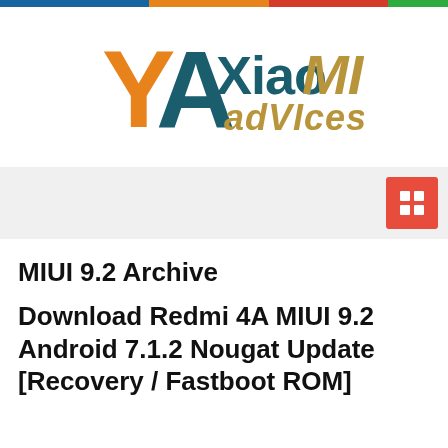[Figure (logo): XiaoMI advices logo with stylized YA letters in orange and teal, and XiaoMI advices text in teal and tan]
MIUI 9.2 Archive
Download Redmi 4A MIUI 9.2 Android 7.1.2 Nougat Update [Recovery / Fastboot ROM]